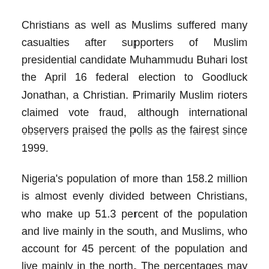Christians as well as Muslims suffered many casualties after supporters of Muslim presidential candidate Muhammudu Buhari lost the April 16 federal election to Goodluck Jonathan, a Christian. Primarily Muslim rioters claimed vote fraud, although international observers praised the polls as the fairest since 1999.
Nigeria's population of more than 158.2 million is almost evenly divided between Christians, who make up 51.3 percent of the population and live mainly in the south, and Muslims, who account for 45 percent of the population and live mainly in the north. The percentages may be less, however, as those practicing indigenous religions may be as high as 10 percent of the total population, according to Operation World.
Report From Compass Direct News